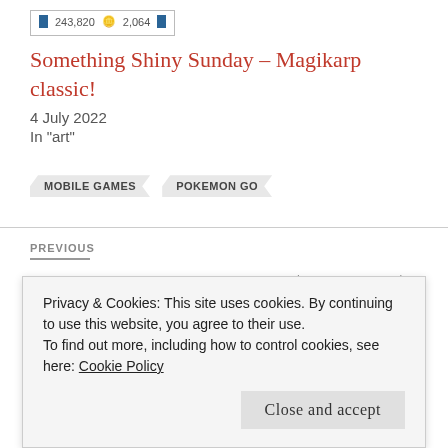[Figure (screenshot): Stats bar showing blue icon, 243,820 count, coin icon, 2,064 count, and blue icon]
Something Shiny Sunday – Magikarp classic!
4 July 2022
In "art"
MOBILE GAMES
POKEMON GO
PREVIOUS
Kiuohiko Azuma. Yotsuba&! (2003-today)
Privacy & Cookies: This site uses cookies. By continuing to use this website, you agree to their use.
To find out more, including how to control cookies, see here: Cookie Policy
Close and accept